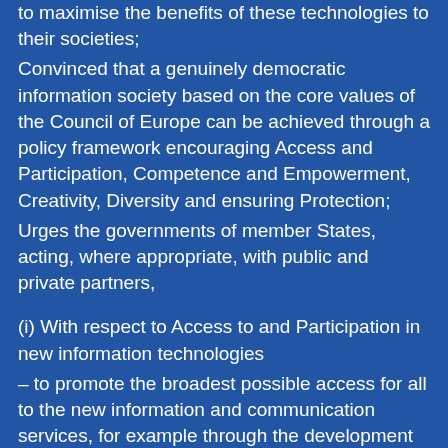to maximise the benefits of these technologies to their societies;
Convinced that a genuinely democratic information society based on the core values of the Council of Europe can be achieved through a policy framework encouraging Access and Participation, Competence and Empowerment, Creativity, Diversity and ensuring Protection;
Urges the governments of member States, acting, where appropriate, with public and private partners,
(i) With respect to Access to and Participation in new information technologies
– to promote the broadest possible access for all to the new information and communication services, for example through the development of widespread access points in public places;
– to enable all individuals to play a more active role in public life, at national, regional and local levels, by using the new information technologies to: